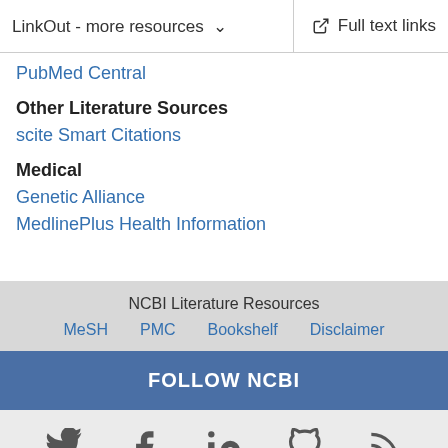LinkOut - more resources   Full text links
PubMed Central
Other Literature Sources
scite Smart Citations
Medical
Genetic Alliance
MedlinePlus Health Information
NCBI Literature Resources  MeSH  PMC  Bookshelf  Disclaimer
FOLLOW NCBI
[Figure (illustration): Social media icons: Twitter, Facebook, LinkedIn, GitHub, RSS]